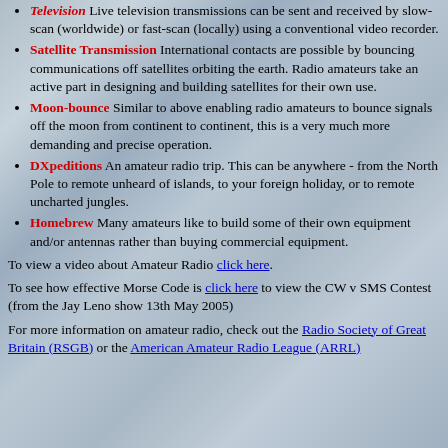Television Live television transmissions can be sent and received by slow-scan (worldwide) or fast-scan (locally) using a conventional video recorder.
Satellite Transmission International contacts are possible by bouncing communications off satellites orbiting the earth. Radio amateurs take an active part in designing and building satellites for their own use.
Moon-bounce Similar to above enabling radio amateurs to bounce signals off the moon from continent to continent, this is a very much more demanding and precise operation.
DXpeditions An amateur radio trip. This can be anywhere - from the North Pole to remote unheard of islands, to your foreign holiday, or to remote uncharted jungles.
Homebrew Many amateurs like to build some of their own equipment and/or antennas rather than buying commercial equipment.
To view a video about Amateur Radio click here.
To see how effective Morse Code is click here to view the CW v SMS Contest (from the Jay Leno show 13th May 2005)
For more information on amateur radio, check out the Radio Society of Great Britain (RSGB) or the American Amateur Radio League (ARRL)